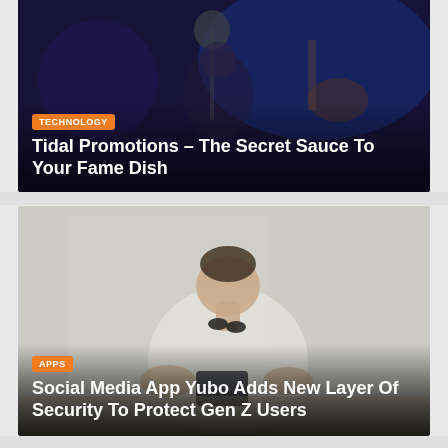[Figure (photo): Dark photo of a guitarist/musician in blue stage lighting with equipment in background. Orange TECHNOLOGY badge overlay. Title overlay: Tidal Promotions – The Secret Sauce To Your Fame Dish]
[Figure (photo): Photo of a young person in a white t-shirt using a smartphone, with sunglasses tucked into collar. Orange APPS badge overlay. Title overlay: Social Media App Yubo Adds New Layer Of Security To Protect Gen Z Users]
[Figure (photo): Partial photo at bottom showing two people wearing face shields/masks, partially cut off.]